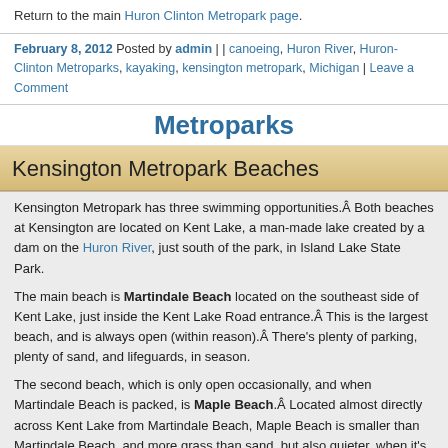Return to the main Huron Clinton Metropark page.
February 8, 2012 Posted by admin | | canoeing, Huron River, Huron-Clinton Metroparks, kayaking, kensington metropark, Michigan | Leave a Comment
Metroparks
Kensington Metropark Beaches
Kensington Metropark has three swimming opportunities.Â  Both beaches at Kensington are located on Kent Lake, a man-made lake created by a dam on the Huron River, just south of the park, in Island Lake State Park.
The main beach is Martindale Beach located on the southeast side of Kent Lake, just inside the Kent Lake Road entrance.Â  This is the largest beach, and is always open (within reason).Â  There's plenty of parking, plenty of sand, and lifeguards, in season.
The second beach, which is only open occasionally, and when Martindale Beach is packed, is Maple Beach.Â  Located almost directly across Kent Lake from Martindale Beach, Maple Beach is smaller than Martindale Beach, and more grass than sand, but also quieter, when it's open.
The third opportunity to cool off in summer heat is at Splash 'n' Blast,